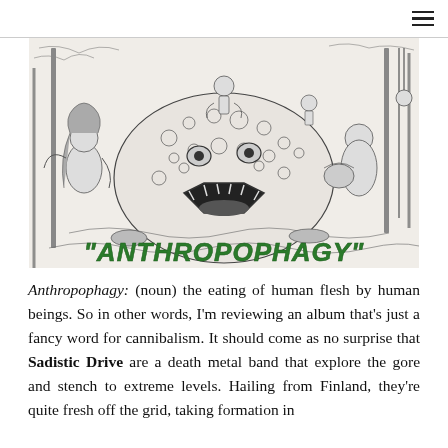[Figure (illustration): Black and white detailed ink illustration of a grotesque monster creature with multiple figures around it, with green stylized text reading "ANTHROPOPHAGY" at the bottom.]
Anthropophagy: (noun) the eating of human flesh by human beings. So in other words, I'm reviewing an album that's just a fancy word for cannibalism. It should come as no surprise that Sadistic Drive are a death metal band that explore the gore and stench to extreme levels. Hailing from Finland, they're quite fresh off the grid, taking formation in